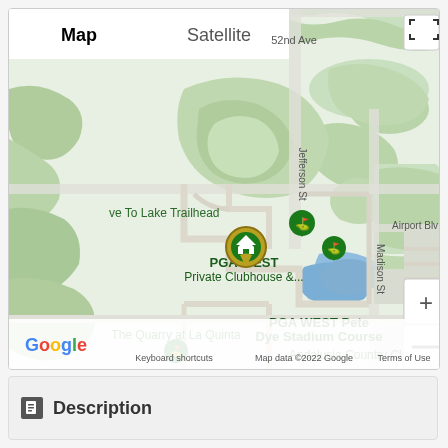[Figure (map): Google Maps view showing PGA WEST area in La Quinta, California. Map/Satellite toggle at top left. Shows PGA WEST Private Clubhouse, PGA WEST Pete Dye Stadium Course, The Quarry at La Quinta, Andalusia Country Club. Street labels: 52nd Ave, Jefferson St, Avenue 54, Madison St, Airport Blvd, Avenida Bermudas. Google logo and map data attribution at bottom. Zoom controls (+/-) and fullscreen button at right. Custom home marker pin at PGA WEST Private Clubhouse location. Map data ©2022 Google.]
Description